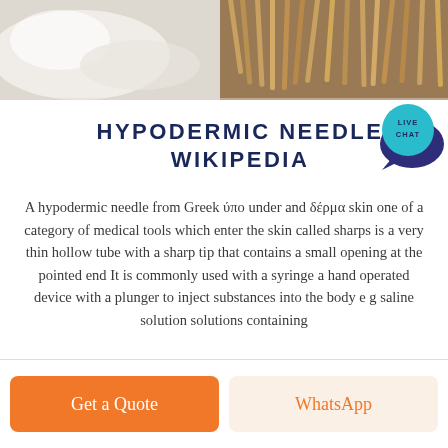[Figure (photo): Photo strip at top showing white fabric on left and wooden sticks/skewers on right]
HYPODERMIC NEEDLE WIKIPEDIA
A hypodermic needle from Greek ύπο under and δέρμα skin one of a category of medical tools which enter the skin called sharps is a very thin hollow tube with a sharp tip that contains a small opening at the pointed end It is commonly used with a syringe a hand operated device with a plunger to inject substances into the body e g saline solution solutions containing
Get a Quote
WhatsApp